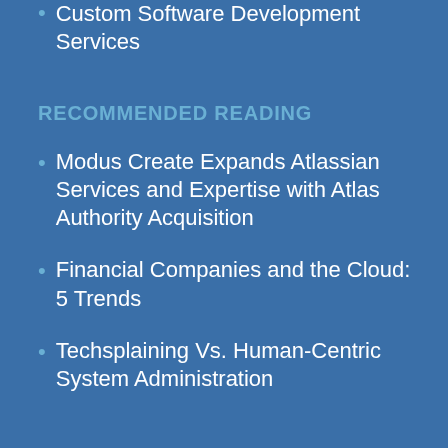Custom Software Development Services
RECOMMENDED READING
Modus Create Expands Atlassian Services and Expertise with Atlas Authority Acquisition
Financial Companies and the Cloud: 5 Trends
Techsplaining Vs. Human-Centric System Administration